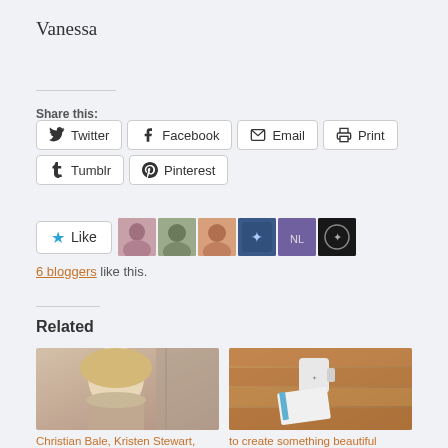Vanessa
Share this:
Twitter  Facebook  Email  Print  Tumblr  Pinterest
[Figure (infographic): Like button with star icon and 6 blogger avatar thumbnails]
6 bloggers like this.
Related
[Figure (photo): Photo of a blonde woman - related article image for 'Christian Bale, Kristen Stewart, Joaquin Phoenix']
[Figure (photo): Photo of a coffee mug and notebook on wooden table - related article image for 'to create something beautiful']
Christian Bale, Kristen Stewart, Joaquin Phoenix
to create something beautiful